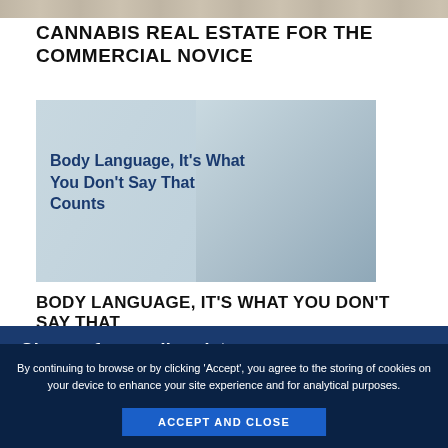[Figure (photo): Partial top image banner, cropped photo visible at top of page]
CANNABIS REAL ESTATE FOR THE COMMERCIAL NOVICE
[Figure (photo): Article thumbnail showing a woman with text overlay: Body Language, It's What You Don't Say That Counts]
BODY LANGUAGE, IT'S WHAT YOU DON'T SAY THAT
Sign up for email updates
By continuing to browse or by clicking 'Accept', you agree to the storing of cookies on your device to enhance your site experience and for analytical purposes.
ACCEPT AND CLOSE